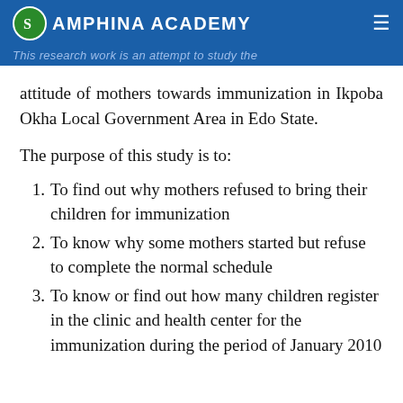SAMPHINA ACADEMY
This research work is an attempt to study the attitude of mothers towards immunization in Ikpoba Okha Local Government Area in Edo State.
The purpose of this study is to:
To find out why mothers refused to bring their children for immunization
To know why some mothers started but refuse to complete the normal schedule
To know or find out how many children register in the clinic and health center for the immunization during the period of January 2010